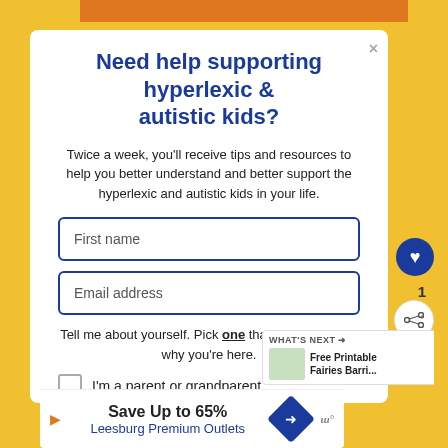Need help supporting hyperlexic & autistic kids?
Twice a week, you'll receive tips and resources to help you better understand and better support the hyperlexic and autistic kids in your life.
First name
Email address
Tell me about yourself. Pick one that best describes why you're here.
I'm a parent or grandparent
Save Up to 65%
Leesburg Premium Outlets